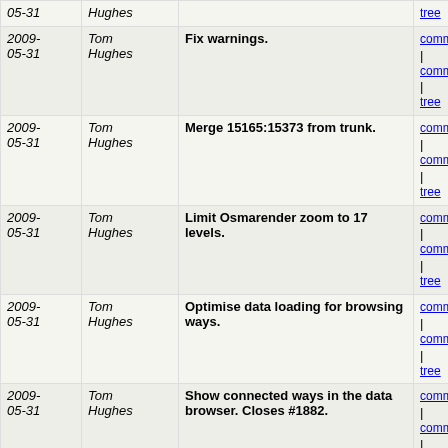| Date | Author | Message | Links |
| --- | --- | --- | --- |
| 2009-05-31 | Tom Hughes | Fix warnings. | commit | commitdiff | tree |
| 2009-05-31 | Tom Hughes | Merge 15165:15373 from trunk. | commit | commitdiff | tree |
| 2009-05-31 | Tom Hughes | Limit Osmarender zoom to 17 levels. | commit | commitdiff | tree |
| 2009-05-31 | Tom Hughes | Optimise data loading for browsing ways. | commit | commitdiff | tree |
| 2009-05-31 | Tom Hughes | Show connected ways in the data browser. Closes #1882. | commit | commitdiff | tree |
| 2009-05-30 | Tom Hughes | Fix foreign key. | commit | commitdiff | tree |
| 2009-05-30 | Tom Hughes | More diary test fixes. | commit | commitdiff | tree |
| 2009-05-30 | Tom Hughes | Fix a couple of diary tests. | commit | commitdiff | tree |
| 2009-05-30 | Tom Hughes | Add a list of languages and fix a few issues with the... | commit | commitdiff | tree |
| 2009-05-30 | Tom Hughes | Remove pointless bit of setup that used an undefined... | commit | commitdiff | tree |
| 2009-05-30 | Tom Hughes | Put ActionMailer configuration in the right place. | commit | commitdiff | tree |
| 2009-05-30 | Tom Hughes | Remove old attempt at i18n. | commit | commitdiff | tree |
| 2009-05-30 | Tom Hughes | Fix wrapping in changeset lists properly. | commit | commitdiff | tree |